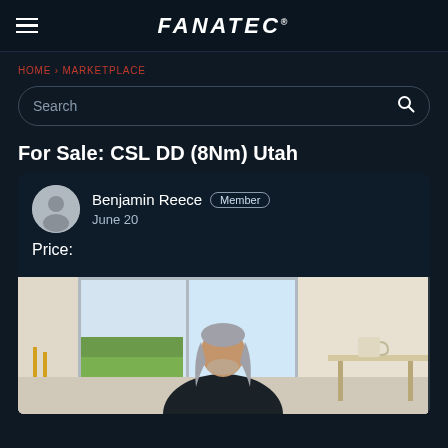FANATEC
HOME › MARKETPLACE
Search
For Sale: CSL DD (8Nm) Utah
Benjamin Reece  Member
June 20
Price:
[Figure (photo): Photo of a person with long grey hair sitting at a desk near a window, wearing a dark jacket. Indoor home setting visible.]